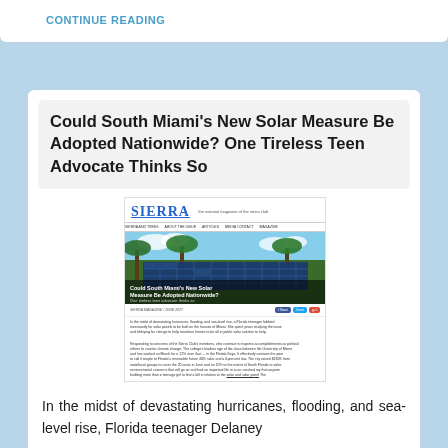CONTINUE READING
Could South Miami's New Solar Measure Be Adopted Nationwide? One Tireless Teen Advocate Thinks So
[Figure (screenshot): Screenshot of a Sierra Magazine article page showing the article 'Could South Miami's New Solar Measure Be Adopted Nationwide?' with a photo of solar panels surrounded by palm trees, navigation bar, byline, share buttons, and body text excerpt.]
In the midst of devastating hurricanes, flooding, and sea-level rise, Florida teenager Delaney